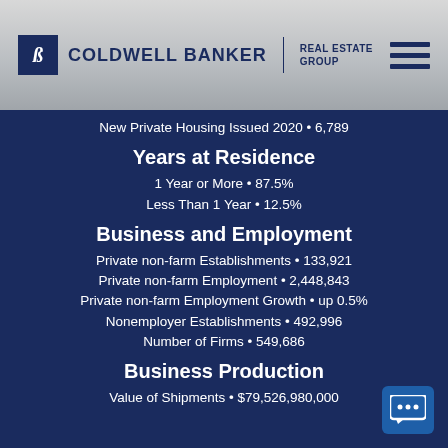Coldwell Banker Real Estate Group
New Private Housing Issued 2020 • 6,789
Years at Residence
1 Year or More • 87.5%
Less Than 1 Year • 12.5%
Business and Employment
Private non-farm Establishments • 133,921
Private non-farm Employment • 2,448,843
Private non-farm Employment Growth • up 0.5%
Nonemployer Establishments • 492,996
Number of Firms • 549,686
Business Production
Value of Shipments • $79,526,980,000